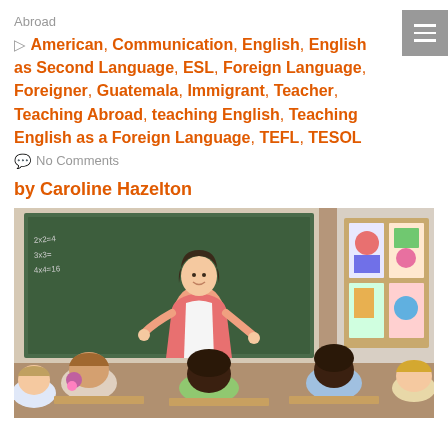Abroad
American, Communication, English, English as Second Language, ESL, Foreign Language, Foreigner, Guatemala, Immigrant, Teacher, Teaching Abroad, teaching English, Teaching English as a Foreign Language, TEFL, TESOL
No Comments
by Caroline Hazelton
[Figure (photo): A female teacher in a pink blazer stands smiling in front of a green chalkboard. Children are seated at desks with their backs to the camera, facing the teacher. Colorful artwork is visible on a bulletin board to the right.]